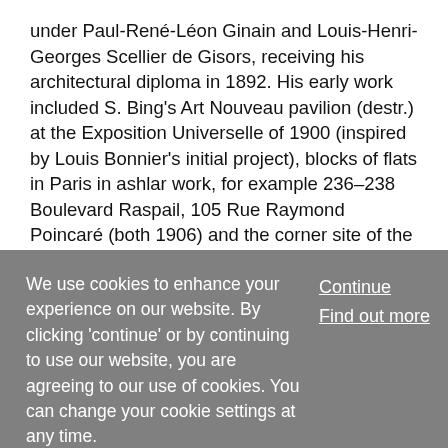under Paul-René-Léon Ginain and Louis-Henri-Georges Scellier de Gisors, receiving his architectural diploma in 1892. His early work included S. Bing's Art Nouveau pavilion (destr.) at the Exposition Universelle of 1900 (inspired by Louis Bonnier's initial project), blocks of flats in Paris in ashlar work, for example 236–238 Boulevard Raspail, 105 Rue Raymond Poincaré (both 1906) and the corner site of the Avenues du Bois de Boulogne et Malakoff (c. 1908), as well as regionalist constructions (garage in Neuilly and rural buildings in Herqueville and Heilly). He participated regularly in the competitions organized by the City of Paris, building low-cost housing schemes in the Rue Brillat-Savarin (1914–30) and the garden city at Chatenay-Malabry (1920–32) in
We use cookies to enhance your experience on our website. By clicking 'continue' or by continuing to use our website, you are agreeing to our use of cookies. You can change your cookie settings at any time.
Continue
Find out more